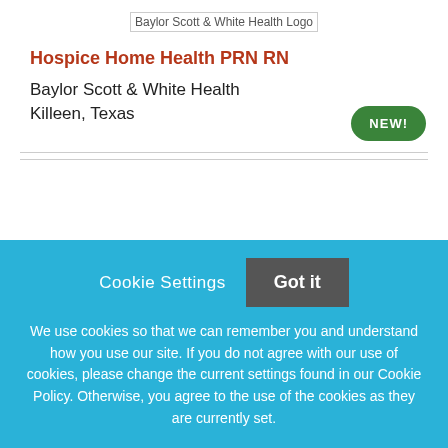[Figure (logo): Baylor Scott & White Health Logo]
Hospice Home Health PRN RN
Baylor Scott & White Health
Killeen, Texas
NEW!
Cookie Settings  Got it
We use cookies so that we can remember you and understand how you use our site. If you do not agree with our use of cookies, please change the current settings found in our Cookie Policy. Otherwise, you agree to the use of the cookies as they are currently set.